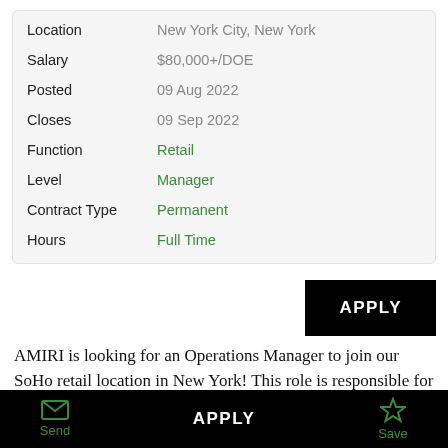| Field | Value |
| --- | --- |
| Location | New York City, New York |
| Salary | $80,000+/DOE |
| Posted | 09 Aug 2022 |
| Closes | 09 Sep 2022 |
| Function | Retail |
| Level | Manager |
| Contract Type | Permanent |
| Hours | Full Time |
AMIRI is looking for an Operations Manager to join our SoHo retail location in New York! This role is responsible for overseeing all things operations-related in the location
Send  APPLY  Save